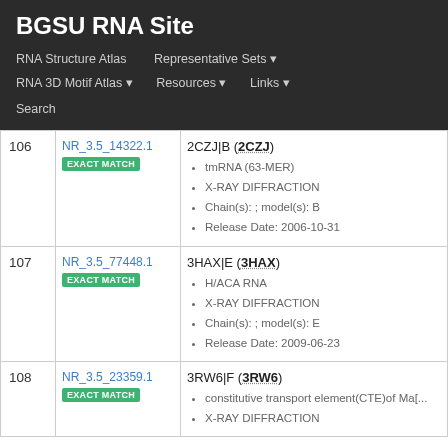BGSU RNA Site
RNA Structure Atlas | Representative Sets | RNA 3D Motif Atlas | Resources | Links | Search
| # | ID | Details |
| --- | --- | --- |
| 106 | NR_3.5_14322.1
EXACT MATCH | 2CZJ|B (2CZJ)
• tmRNA (63-MER)
• X-RAY DIFFRACTION
• Chain(s): ; model(s): B
• Release Date: 2006-10-31 |
| 107 | NR_3.5_77448.1
EXACT MATCH | 3HAX|E (3HAX)
• H/ACA RNA
• X-RAY DIFFRACTION
• Chain(s): ; model(s): E
• Release Date: 2009-06-23 |
| 108 | NR_3.5_23359.1
EXACT MATCH | 3RW6|F (3RW6)
• constitutive transport element(CTE)of Ma[...
• X-RAY DIFFRACTION |